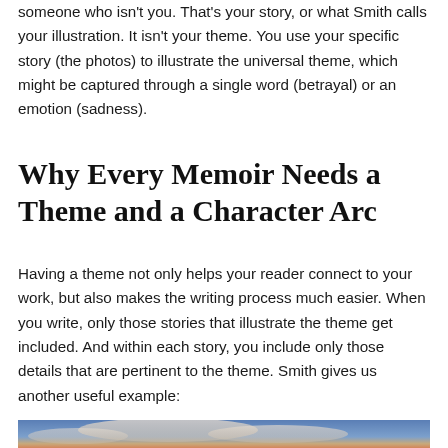someone who isn't you. That's your story, or what Smith calls your illustration. It isn't your theme. You use your specific story (the photos) to illustrate the universal theme, which might be captured through a single word (betrayal) or an emotion (sadness).
Why Every Memoir Needs a Theme and a Character Arc
Having a theme not only helps your reader connect to your work, but also makes the writing process much easier. When you write, only those stories that illustrate the theme get included. And within each story, you include only those details that are pertinent to the theme. Smith gives us another useful example:
[Figure (photo): A photo showing a sky with clouds, appearing to be a sunset or dusk scene with warm tones at the bottom and blue sky above.]